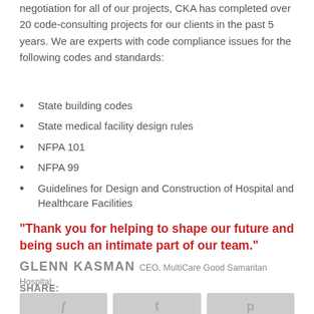negotiation for all of our projects, CKA has completed over 20 code-consulting projects for our clients in the past 5 years. We are experts with code compliance issues for the following codes and standards:
State building codes
State medical facility design rules
NFPA 101
NFPA 99
Guidelines for Design and Construction of Hospital and Healthcare Facilities
“Thank you for helping to shape our future and being such an intimate part of our team.”
GLENN KASMAN CEO, MultiCare Good Samaritan Hospital
SHARE: